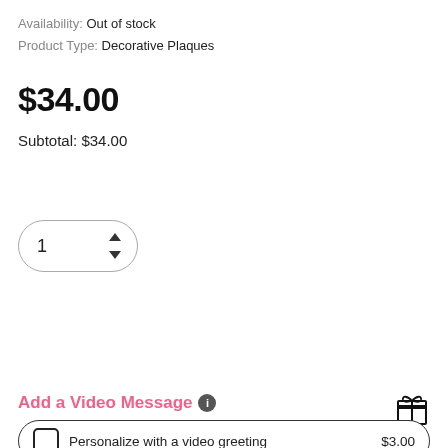Availability: Out of stock
Product Type: Decorative Plaques
$34.00
Subtotal: $34.00
[Figure (other): Quantity selector showing value 1 with up/down arrows, pill-shaped border]
[Figure (other): Green pill-shaped Add To Cart button, pink heart circle button, grey share circle button]
Add a Video Message (info icon) [gift icon]
Personalize with a video greeting   $3.00